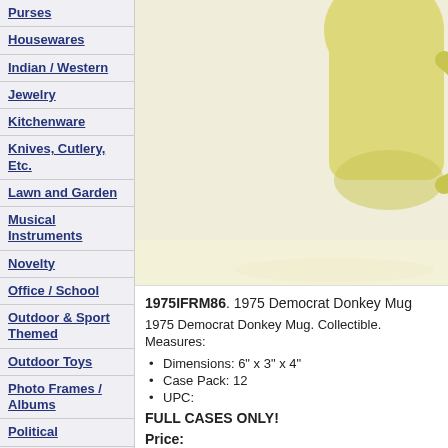Purses
Housewares
Indian / Western
Jewelry
Kitchenware
Knives, Cutlery, Etc.
Lawn and Garden
Musical Instruments
Novelty
Office / School
Outdoor & Sport Themed
Outdoor Toys
Photo Frames / Albums
Political
Quilted Throws
Red Heart Yarn
Religious Items
Ribbon
[Figure (photo): Close-up photo of a yellow ceramic Democrat Donkey Mug against a light background]
1975IFRM86. 1975 Democrat Donkey Mug
1975 Democrat Donkey Mug. Collectible. Measures:
Dimensions: 6" x 3" x 4"
Case Pack: 12
UPC:
FULL CASES ONLY!
Price: